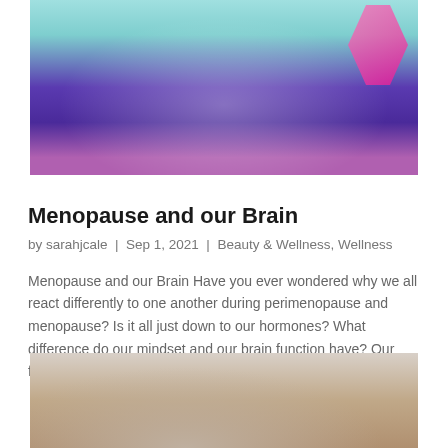[Figure (photo): Top portion of a person wearing colorful athletic/workout clothing in teal, purple, and pink colors against a dark background. The image is cropped showing the torso/clothing area.]
Menopause and our Brain
by sarahjcale  |  Sep 1, 2021  |  Beauty & Wellness, Wellness
Menopause and our Brain Have you ever wondered why we all react differently to one another during perimenopause and menopause? Is it all just down to our hormones? What difference do our mindset and our brain function have? Our founder Sarah Cale had the opportunity…
[Figure (photo): Bottom portion of an image showing what appears to be a person's shoulder/arm area with a light, neutral-toned background, partially cropped at the bottom of the page.]